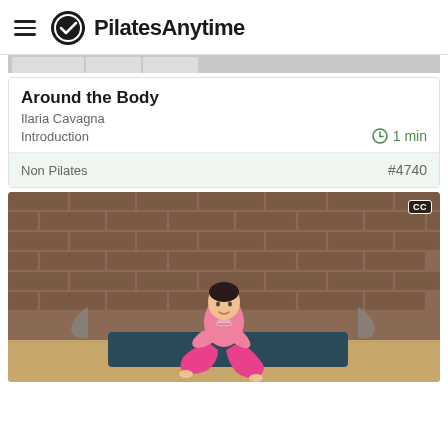PilatesAnytime
Around the Body
Ilaria Cavagna
Introduction   1 min
Non Pilates   #4740
[Figure (photo): Woman in pink athletic wear sitting on a dark yoga mat on a wooden floor in front of a brick wall, with arms wrapped around one knee in a pilates pose. CC badge visible in upper right corner.]